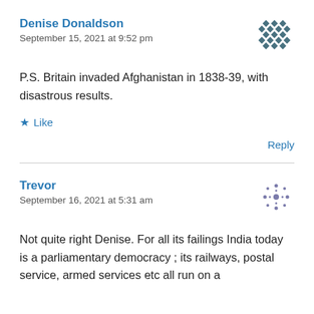Denise Donaldson
September 15, 2021 at 9:52 pm
P.S. Britain invaded Afghanistan in 1838-39, with disastrous results.
Like
Reply
Trevor
September 16, 2021 at 5:31 am
Not quite right Denise. For all its failings India today is a parliamentary democracy ; its railways, postal service, armed services etc all run on a